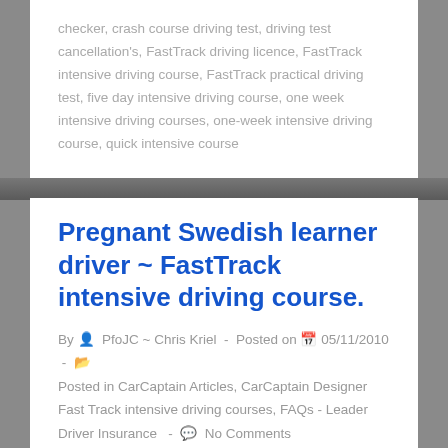checker, crash course driving test, driving test cancellation's, FastTrack driving licence, FastTrack intensive driving course, FastTrack practical driving test, five day intensive driving course, one week intensive driving courses, one-week intensive driving course, quick intensive course
Pregnant Swedish learner driver ~ FastTrack intensive driving course.
By PfoJC ~ Chris Kriel - Posted on 05/11/2010 - Posted in CarCaptain Articles, CarCaptain Designer Fast Track intensive driving courses, FAQs - Leader Driver Insurance - No Comments
EU licence – UK licence, pregnant and intensive